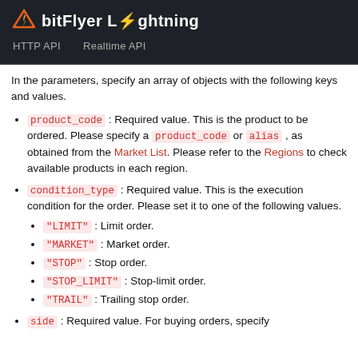bitFlyer Lightning — HTTP API | Realtime API
In the parameters, specify an array of objects with the following keys and values.
product_code : Required value. This is the product to be ordered. Please specify a product_code or alias , as obtained from the Market List. Please refer to the Regions to check available products in each region.
condition_type : Required value. This is the execution condition for the order. Please set it to one of the following values.
"LIMIT" : Limit order.
"MARKET" : Market order.
"STOP" : Stop order.
"STOP_LIMIT" : Stop-limit order.
"TRAIL" : Trailing stop order.
side : Required value. For buying orders, specify